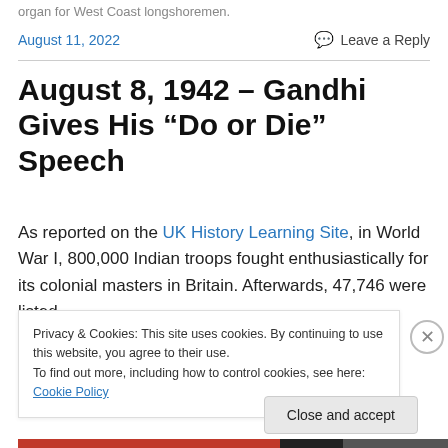organ for West Coast longshoremen.
August 11, 2022
Leave a Reply
August 8, 1942 – Gandhi Gives His “Do or Die” Speech
As reported on the UK History Learning Site, in World War I, 800,000 Indian troops fought enthusiastically for its colonial masters in Britain. Afterwards, 47,746 were listed
Privacy & Cookies: This site uses cookies. By continuing to use this website, you agree to their use.
To find out more, including how to control cookies, see here: Cookie Policy
Close and accept